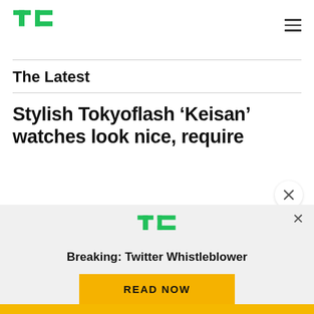TechCrunch
The Latest
Stylish Tokyoflash ‘Keisan’ watches look nice, require
[Figure (logo): TechCrunch TC logo in green, advertisement overlay]
Breaking: Twitter Whistleblower
READ NOW